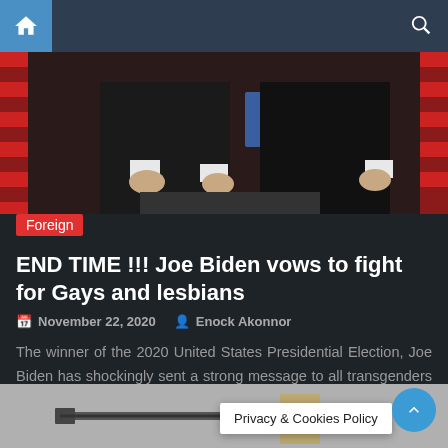Home | Search
[Figure (photo): Two men in dark suits at a podium, American flags and red/blue decorations in background]
Foreign
END TIME !!! Joe Biden vows to fight for Gays and lesbians
November 22, 2020   Enock Akonnor
The winner of the 2020 United States Presidential Election, Joe Biden has shockingly sent a strong message to all transgenders (Gays & Lesbians) in America and across the globe. He has made a promise to support and fight for the safety and dignity of Gays and Lesbians across the world once he is sworn into [...]
[Figure (photo): Partial bottom image, dark/gray tones, possibly weapon or mechanical object]
Privacy & Cookies Policy